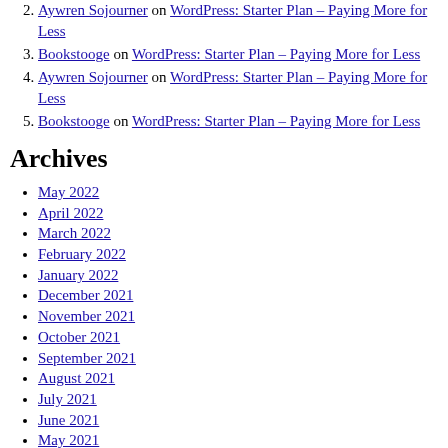2. Aywren Sojourner on WordPress: Starter Plan – Paying More for Less
3. Bookstooge on WordPress: Starter Plan – Paying More for Less
4. Aywren Sojourner on WordPress: Starter Plan – Paying More for Less
5. Bookstooge on WordPress: Starter Plan – Paying More for Less
Archives
May 2022
April 2022
March 2022
February 2022
January 2022
December 2021
November 2021
October 2021
September 2021
August 2021
July 2021
June 2021
May 2021
April 2021